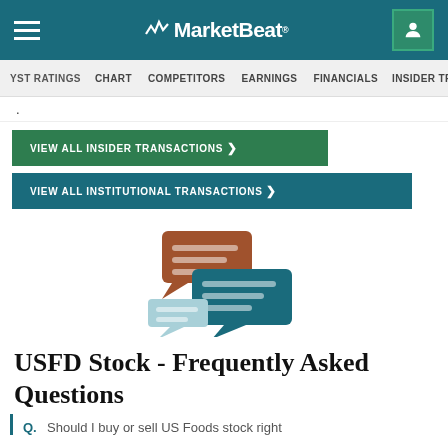MarketBeat
ANALYST RATINGS  CHART  COMPETITORS  EARNINGS  FINANCIALS  INSIDER TRA
.
VIEW ALL INSIDER TRANSACTIONS >
VIEW ALL INSTITUTIONAL TRANSACTIONS >
[Figure (illustration): FAQ chat bubble illustration with three overlapping speech bubbles in brown, teal, and light teal colors]
USFD Stock - Frequently Asked Questions
Q.  Should I buy or sell US Foods stock right